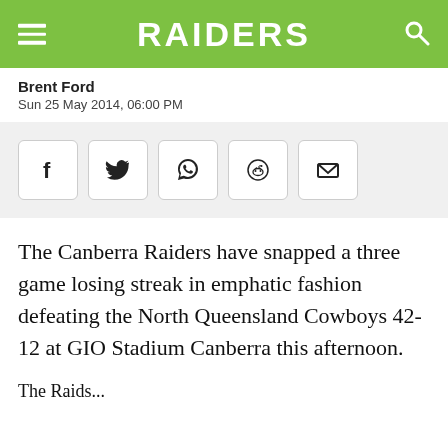RAIDERS
Brent Ford
Sun 25 May 2014, 06:00 PM
[Figure (other): Social share icon buttons: Facebook, Twitter, WhatsApp, Reddit, Email]
The Canberra Raiders have snapped a three game losing streak in emphatic fashion defeating the North Queensland Cowboys 42-12 at GIO Stadium Canberra this afternoon.
The Raiders...